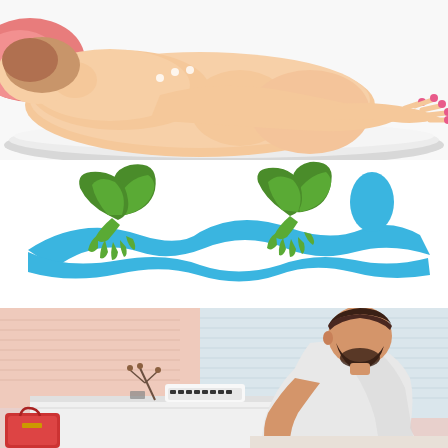[Figure (illustration): Illustration of a person lying face down on a massage table with red-painted fingernails visible, lying on a white towel, with a pink/salmon colored pillow or bolster. The person appears to be receiving a massage.]
[Figure (logo): Massage therapy or spa logo: two green stylized hands/leaves on either side of a blue wave shape, with a blue oval representing a person's head on the right side. The overall image suggests a person floating or being massaged, depicted in a minimalist style with green and blue colors.]
[Figure (photo): Photograph of a bearded man in a white t-shirt leaning over a white cabinet/dresser, appearing to be working or reading. Behind him are white shuttered windows/closet doors with pink/red light. On the cabinet there is a vintage typewriter, a red bag on the left, and various small objects. The scene has a warm pink-tinted ambiance.]